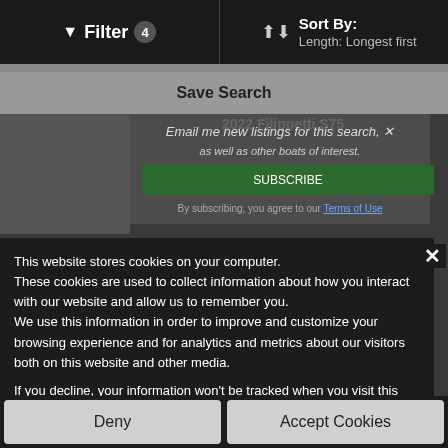Filter 4   Sort By: Length: Longest first
Save Search
[Figure (screenshot): Background boat listing page showing '2022 Filippetti S75' and other listings, partially obscured by a cookie consent modal overlay.]
This website stores cookies on your computer. These cookies are used to collect information about how you interact with our website and allow us to remember you. We use this information in order to improve and customize your browsing experience and for analytics and metrics about our visitors both on this website and other media. To find out more about the cookies we use, see our Cookie Policy.
If you decline, your information won't be tracked when you visit this website. A single cookie will be used in your browser to remember your preference not to be tracked.
Deny
Accept Cookies